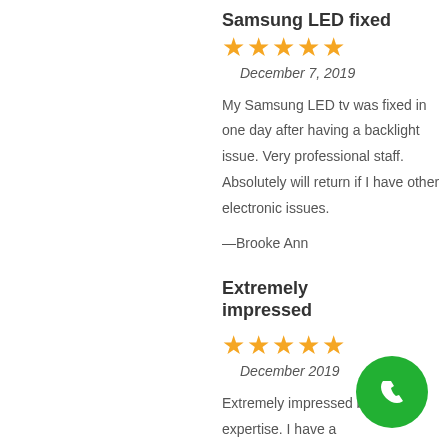Samsung LED fixed
★★★★★
December 7, 2019
My Samsung LED tv was fixed in one day after having a backlight issue. Very professional staff. Absolutely will return if I have other electronic issues.
—Brooke Ann
Extremely impressed
★★★★★
December 2019
Extremely impressed by their expertise. I have a
[Figure (other): Green circular call button with phone handset icon]